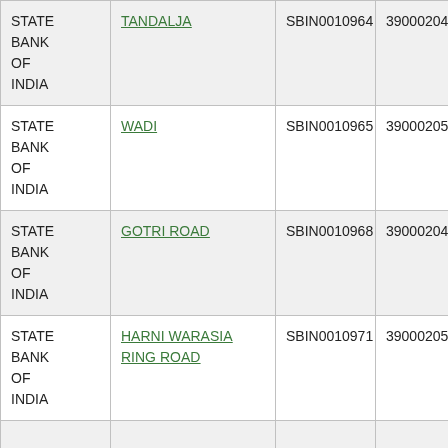| STATE BANK OF INDIA | TANDALJA | SBIN0010964 | 390002044 |
| STATE BANK OF INDIA | WADI | SBIN0010965 | 390002050 |
| STATE BANK OF INDIA | GOTRI ROAD | SBIN0010968 | 390002042 |
| STATE BANK OF INDIA | HARNI WARASIA RING ROAD | SBIN0010971 | 390002051 |